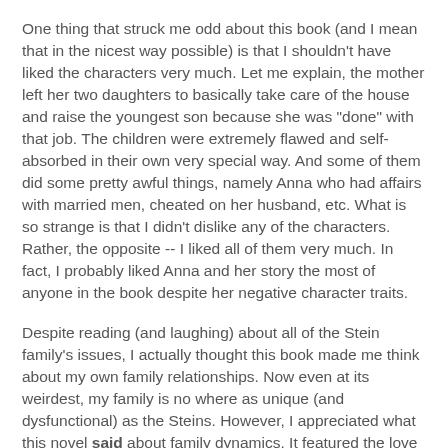One thing that struck me odd about this book (and I mean that in the nicest way possible) is that I shouldn't have liked the characters very much. Let me explain, the mother left her two daughters to basically take care of the house and raise the youngest son because she was "done" with that job. The children were extremely flawed and self-absorbed in their own very special way. And some of them did some pretty awful things, namely Anna who had affairs with married men, cheated on her husband, etc. What is so strange is that I didn't dislike any of the characters. Rather, the opposite -- I liked all of them very much. In fact, I probably liked Anna and her story the most of anyone in the book despite her negative character traits.
Despite reading (and laughing) about all of the Stein family's issues, I actually thought this book made me think about my own family relationships. Now even at its weirdest, my family is no where as unique (and dysfunctional) as the Steins. However, I appreciated what this novel said about family dynamics. It featured the love between family members as well as the acceptance of them -- bad baggage and all. I also walked away from this story realizing the power of